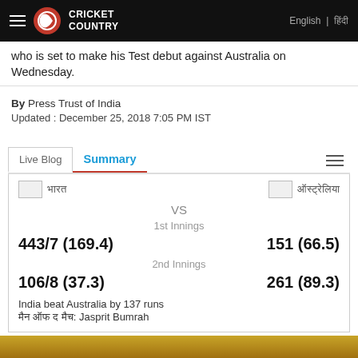Cricket Country | English | हिंदी
who is set to make his Test debut against Australia on Wednesday.
By Press Trust of India
Updated : December 25, 2018 7:05 PM IST
| Team | VS | Team |
| --- | --- | --- |
| भारत | vs | ऑस्ट्रेलिया |
|  | 1st Innings |  |
| 443/7 (169.4) |  | 151 (66.5) |
|  | 2nd Innings |  |
| 106/8 (37.3) |  | 261 (89.3) |
India beat Australia by 137 runs
मैन ऑफ द मैच: Jasprit Bumrah